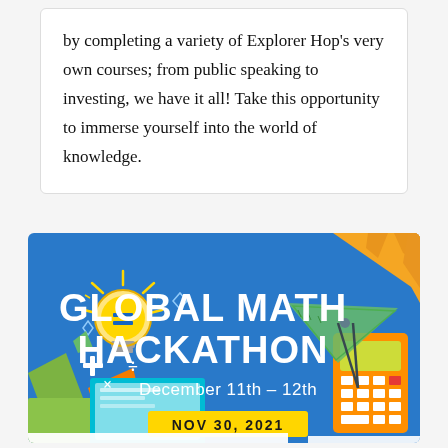by completing a variety of Explorer Hop's very own courses; from public speaking to investing, we have it all! Take this opportunity to immerse yourself into the world of knowledge.
[Figure (illustration): Global Math Hackathon promotional banner with blue background, orange starburst top-right, lightbulb with equals sign, math symbols, laptop, calculator, ruler, compass. Text: 'GLOBAL MATH HACKATHON', 'December 11th - 12th', 'NOV 30, 2021']